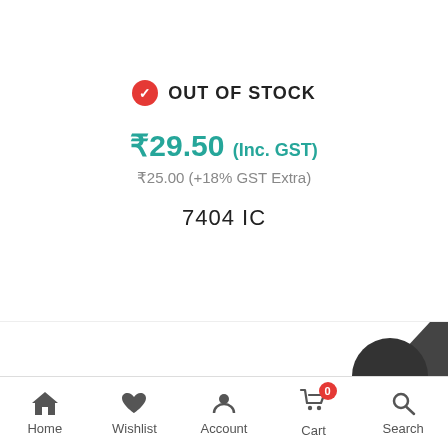OUT OF STOCK
₹29.50 (Inc. GST)
₹25.00 (+18% GST Extra)
7404 IC
[Figure (screenshot): Partial product image visible at bottom of screen before nav bar]
Home  Wishlist  Account  Cart 0  Search